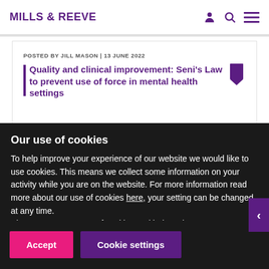MILLS & REEVE
POSTED BY JILL MASON | 13 JUNE 2022
Quality and clinical improvement: Seni’s Law to prevent use of force in mental health settings
Our use of cookies
To help improve your experience of our website we would like to use cookies. This means we collect some information on your activity while you are on the website. For more information read more about our use of cookies here, your setting can be changed at any time.
Please accept our use of cookies and help us improve your experience.
Accept
Cookie settings
0344 880 2666